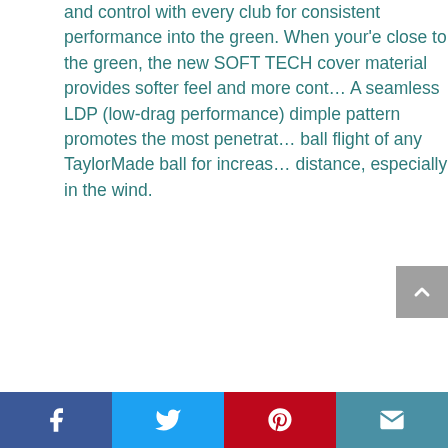and control with every club for consistent performance into the green. When your'e close to the green, the new SOFT TECH cover material provides softer feel and more control. A seamless LDP (low-drag performance) dimple pattern promotes the most penetrating ball flight of any TaylorMade ball for increased distance, especially in the wind.
[Figure (other): Social media share bar with Facebook, Twitter, Pinterest, and email icons at the bottom of the page]